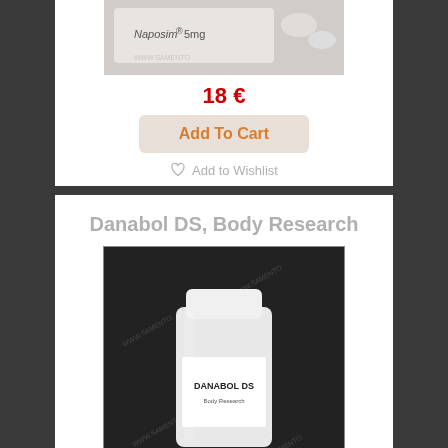[Figure (photo): Naposim 5mg pill box product photo with watermark]
18 €
Add To Cart
Add to Wishlist
Add to Compare
Danabol DS, Body Research
[Figure (photo): Danabol DS white supplement bottle product photo with watermark on dark background]
101 € 131 €
Add To Cart